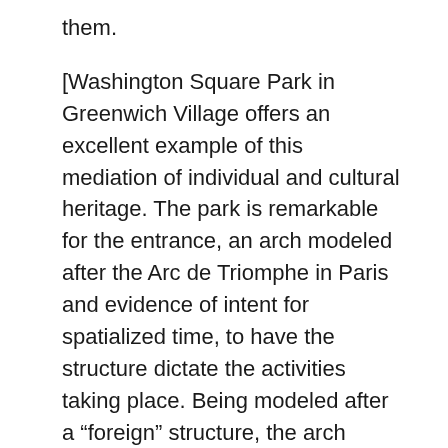them.
[Washington Square Park in Greenwich Village offers an excellent example of this mediation of individual and cultural heritage. The park is remarkable for the entrance, an arch modeled after the Arc de Triomphe in Paris and evidence of intent for spatialized time, to have the structure dictate the activities taking place. Being modeled after a “foreign” structure, the arch defies localization and registers on the flaneur/learner a conceptual sense of purpose. It is firmly built into New York City, yet what it celebrates are universal themes of liberty. However, Washington Square Park has migrated to a temporalized space, where the park itself is defined by its proximity to a center of activity,